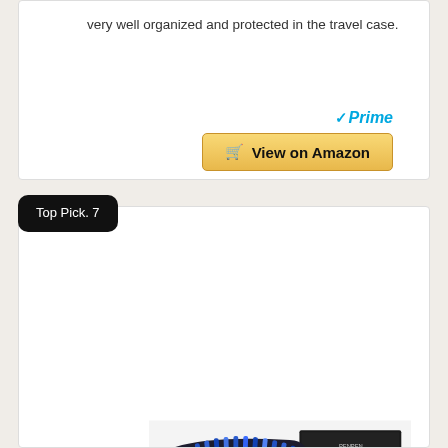very well organized and protected in the travel case.
[Figure (other): Amazon Prime logo with checkmark and 'Prime' text in blue italic]
[Figure (other): Golden 'View on Amazon' button with shopping cart icon]
Top Pick. 7
[Figure (photo): Product photo of an artist pencil set in an open black zippered case showing colored pencils, graphite pencils, and art tools, with a sketch book visible in the background]